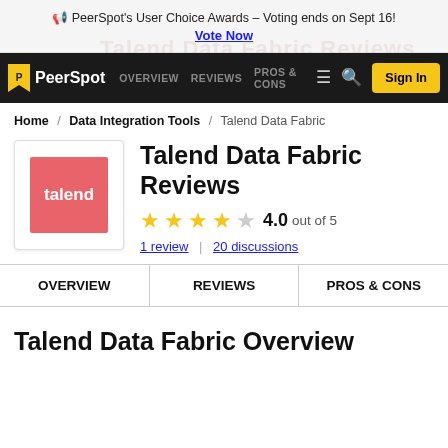PeerSpot's User Choice Awards – Voting ends on Sept 16! Vote Now
[Figure (logo): PeerSpot navigation bar with logo, nav links OVERVIEW, REVIEWS, PROS & CONS, hamburger menu, search icon, and Sign In button]
Home / Data Integration Tools / Talend Data Fabric
Talend Data Fabric Reviews
[Figure (logo): Talend product logo: red/salmon square with white text 'talend']
4.0 out of 5
1 review | 20 discussions
OVERVIEW | REVIEWS | PROS & CONS
Talend Data Fabric Overview